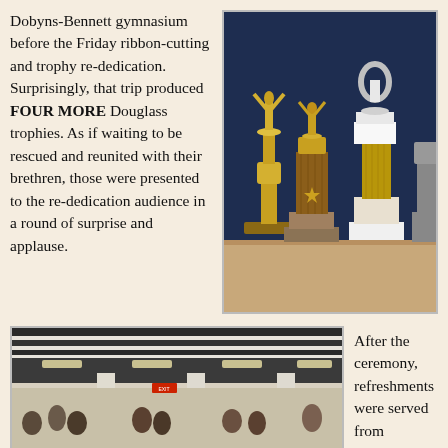Dobyns-Bennett gymnasium before the Friday ribbon-cutting and trophy re-dedication. Surprisingly, that trip produced FOUR MORE Douglass trophies. As if waiting to be rescued and reunited with their brethren, those were presented to the re-dedication audience in a round of surprise and applause.
[Figure (photo): Close-up photograph of several gold trophies with figurines on top, displayed against a dark blue background on a table.]
[Figure (photo): Interior photograph of a gymnasium or large hall with people gathered, showing a high ceiling with architectural details and white columns.]
After the ceremony, refreshments were served from luncheon platters furnished by